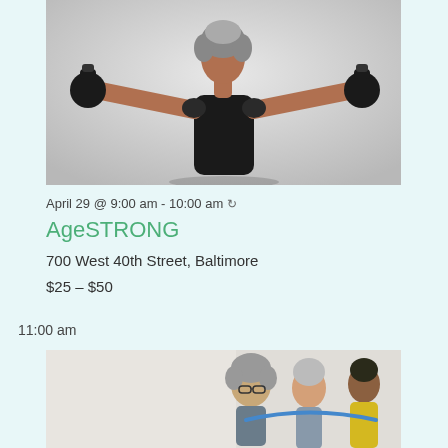[Figure (photo): Older woman seen from behind holding two kettlebells with arms extended outward, wearing a black sleeveless top, gray/white hair]
April 29 @ 9:00 am - 10:00 am ↻
AgeSTRONG
700 West 40th Street, Baltimore
$25 – $50
11:00 am
[Figure (photo): Group of older adults exercising with resistance bands, visible people include a woman with glasses and curly gray hair, another older woman, and a man in a yellow shirt]